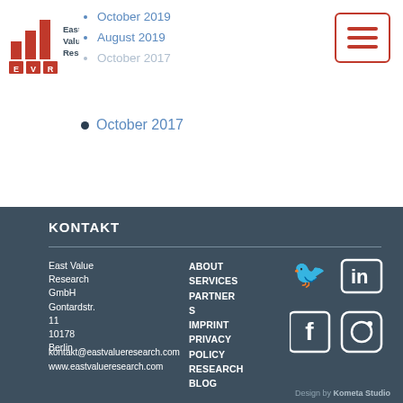[Figure (logo): East Value Research logo with red bar chart and EVR letters]
October 2019
August 2019
October 2017
[Figure (other): Hamburger menu button with red border and three red lines]
KONTAKT
East Value Research GmbH
Gontardstr. 11
10178 Berlin
ABOUT
SERVICES
PARTNERS
IMPRINT
PRIVACY POLICY
RESEARCH BLOG
[Figure (other): Social media icons: Twitter, LinkedIn, Facebook, Instagram]
kontakt@eastvalueresearch.com
www.eastvalueresearch.com
Design by Kometa Studio